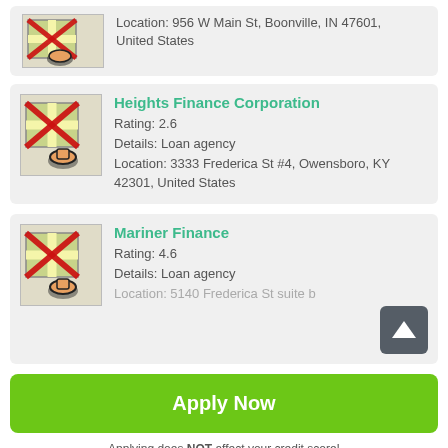Location: 956 W Main St, Boonville, IN 47601, United States
Heights Finance Corporation
Rating: 2.6
Details: Loan agency
Location: 3333 Frederica St #4, Owensboro, KY 42301, United States
Mariner Finance
Rating: 4.6
Details: Loan agency
Location: 5140 Frederica St suite b
Apply Now
Applying does NOT affect your credit score!
No credit check to apply.